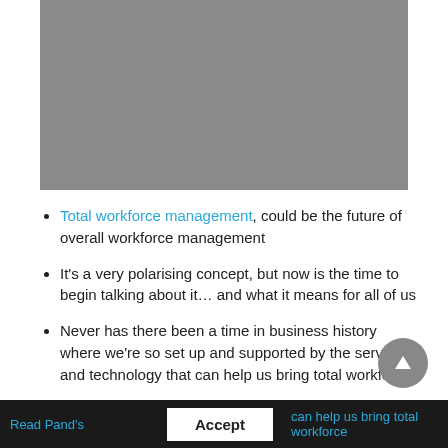[Figure (photo): Grey placeholder image at top of slide]
Total workforce management, could be the future of overall workforce management
It's a very polarising concept, but now is the time to begin talking about it… and what it means for all of us
Never has there been a time in business history where we're so set up and supported by the services and technology that can help us bring total workforce [management...]